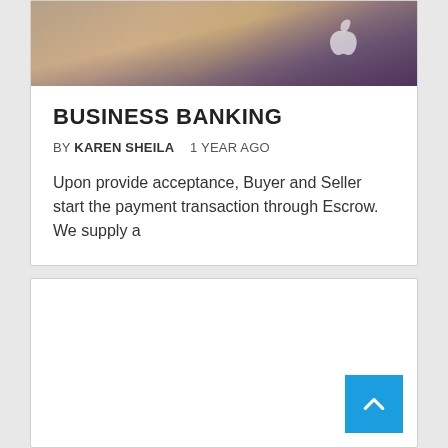[Figure (photo): Blurred photo of a person working on a laptop, partially showing an Apple logo on the laptop lid. Warm tones with purple/maroon background.]
BUSINESS BANKING
BY KAREN SHEILA   1 YEAR AGO
Upon provide acceptance, Buyer and Seller start the payment transaction through Escrow. We supply a
[Figure (other): Empty white card section at the bottom of the page with a blue back-to-top button in the lower right corner.]